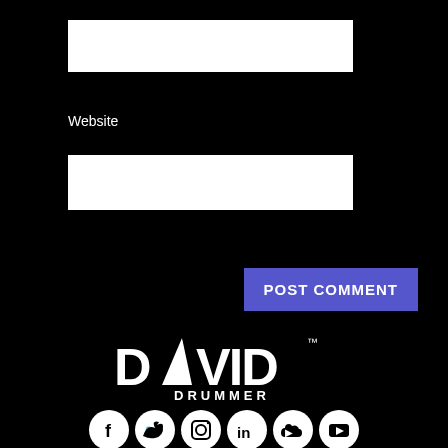Website
POST COMMENT
[Figure (logo): DAVID DRUMMER logo — stylized white text with drumstick icon and TM mark on black background]
[Figure (infographic): Row of 6 social media icon circles: Facebook, Twitter, Instagram, LinkedIn, SoundCloud, YouTube]
SUBSCRIBE TO THE NEWSLETTER
SUBSCRIBE